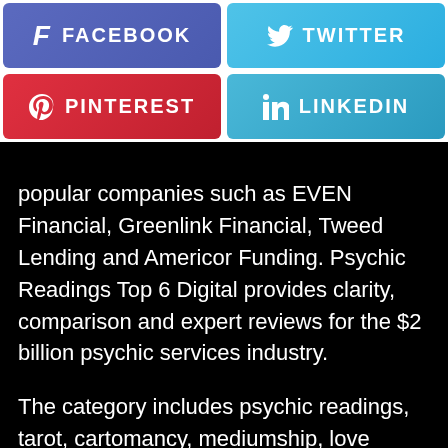[Figure (infographic): Four social media share buttons in a 2x2 grid: Facebook (blue-purple), Twitter (light blue), Pinterest (red), LinkedIn (blue)]
popular companies such as EVEN Financial, Greenlink Financial, Tweed Lending and Americor Funding. Psychic Readings Top 6 Digital provides clarity, comparison and expert reviews for the $2 billion psychic services industry.
The category includes psychic readings, tarot, cartomancy, mediumship, love readings, fortune telling, astrology and a lot more. Other Industries Password Managers, Project Management, VPN, Electric